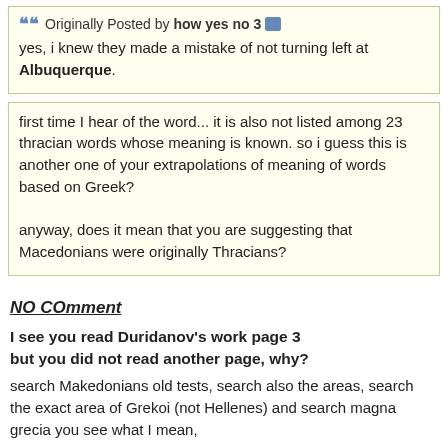Originally Posted by how yes no 3
yes, i knew they made a mistake of not turning left at Albuquerque.
first time I hear of the word... it is also not listed among 23 thracian words whose meaning is known. so i guess this is another one of your extrapolations of meaning of words based on Greek?

anyway, does it mean that you are suggesting that Macedonians were originally Thracians?
NO COmment
I see you read Duridanov's work page 3 but you did not read another page, why?
search Makedonians old tests, search also the areas, search the exact area of Grekoi (not Hellenes) and search magna grecia you see what I mean,
Besides I do not need any proves more, Pella katadesmos